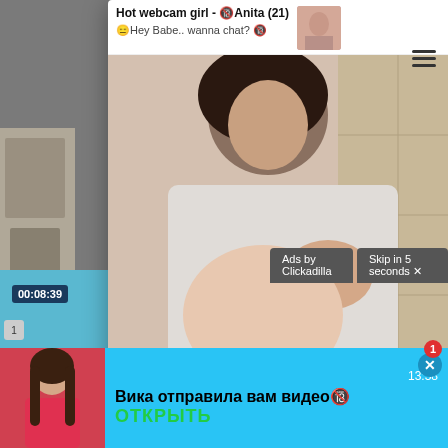[Figure (screenshot): Ad popup overlay with title 'Hot webcam girl - 🔞Anita (21)', subtitle '😑Hey Babe.. wanna chat? 🔞', thumbnail image, and a large suggestive photo]
Hot webcam girl - 🔞Anita (21)
😑Hey Babe.. wanna chat? 🔞
ccp
Ads by Clickadilla
Skip in 5 seconds ✕
[Figure (screenshot): Video player showing timestamp 00:08:39, hotel sign reading 'EACH SUITE COVERS THE WHOLE...' on teal background]
00:08:39
EACH SUITE COVERS THE WHOLE
Inside
[Figure (screenshot): Notification banner in cyan/blue showing avatar of woman in red dress, message 'Вика отправила вам видео🔞', time 13:38, and green 'ОТКРЫТЬ' button]
13:38
Вика отправила вам видео🔞
ОТКРЫТЬ